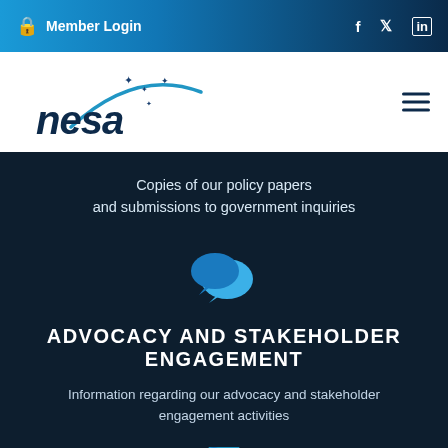Member Login
[Figure (logo): NESA logo with arc and stars]
Copies of our policy papers and submissions to government inquiries
[Figure (illustration): Blue speech bubble / chat icon]
ADVOCACY AND STAKEHOLDER ENGAGEMENT
Information regarding our advocacy and stakeholder engagement activities
[Figure (illustration): Partial blue icon at bottom]